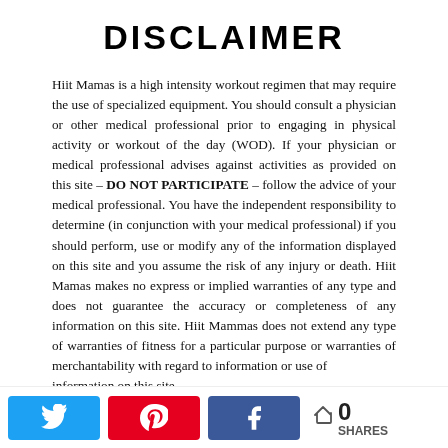DISCLAIMER
Hiit Mamas is a high intensity workout regimen that may require the use of specialized equipment. You should consult a physician or other medical professional prior to engaging in physical activity or workout of the day (WOD). If your physician or medical professional advises against activities as provided on this site – DO NOT PARTICIPATE – follow the advice of your medical professional. You have the independent responsibility to determine (in conjunction with your medical professional) if you should perform, use or modify any of the information displayed on this site and you assume the risk of any injury or death. Hiit Mamas makes no express or implied warranties of any type and does not guarantee the accuracy or completeness of any information on this site. Hiit Mammas does not extend any type of warranties of fitness for a particular purpose or warranties of merchantability with regard to information or use of information on this site.
Hiit Mamas assumes no responsibility or liability for any loss or damage and specifically disclaims liability from any and all damages as a result of the use or misuse of any information on this site, whether it be incidental or